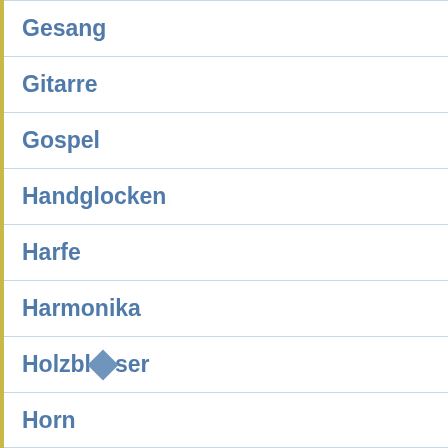Gesang
Gitarre
Gospel
Handglocken
Harfe
Harmonika
Holzbläser
Horn